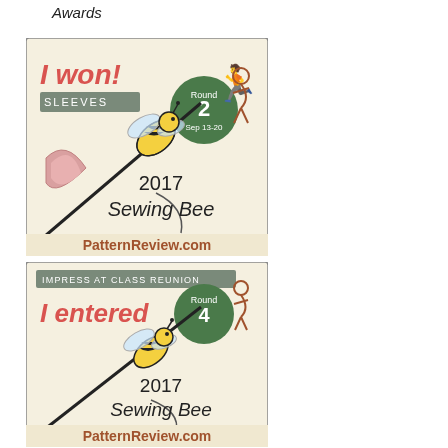Awards
[Figure (illustration): PatternReview.com 2017 Sewing Bee badge - I won! Sleeves, Round 2, Sep 13-20]
[Figure (illustration): PatternReview.com 2017 Sewing Bee badge - I entered, Impress at Class Reunion, Round 4]